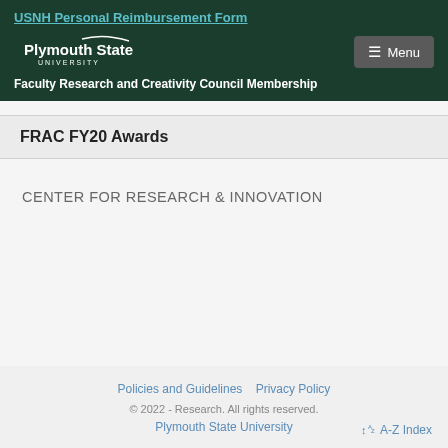USNH Personal Reimbursement Form
[Figure (logo): Plymouth State University logo with white text and swoosh on dark green background, with Menu button]
Faculty Research and Creativity Council Membership
FRAC FY20 Awards
CENTER FOR RESEARCH & INNOVATION
Policies and Guidelines   Privacy Policy
© 2022 - Research. All rights reserved.
Plymouth State University
A-Z Index